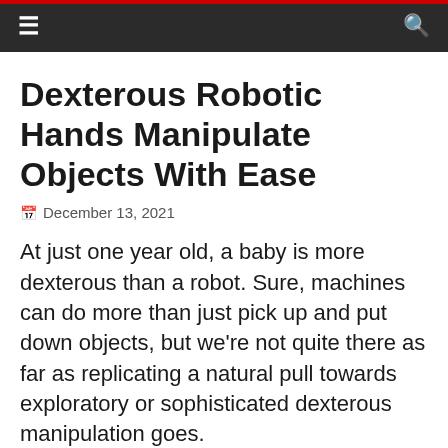≡    Q
Dexterous Robotic Hands Manipulate Objects With Ease
December 13, 2021
At just one year old, a baby is more dexterous than a robot. Sure, machines can do more than just pick up and put down objects, but we're not quite there as far as replicating a natural pull towards exploratory or sophisticated dexterous manipulation goes.
Scientists from MIT's Computer Science and Artificial Intelligence Laboratory